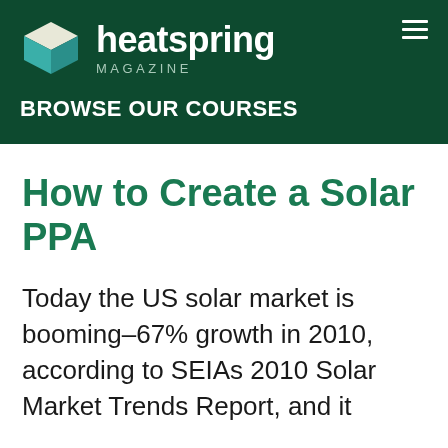[Figure (logo): Heatspring Magazine logo with teal 3D cube icon on dark green background]
BROWSE OUR COURSES
How to Create a Solar PPA
Today the US solar market is booming–67% growth in 2010, according to SEIAs 2010 Solar Market Trends Report, and it